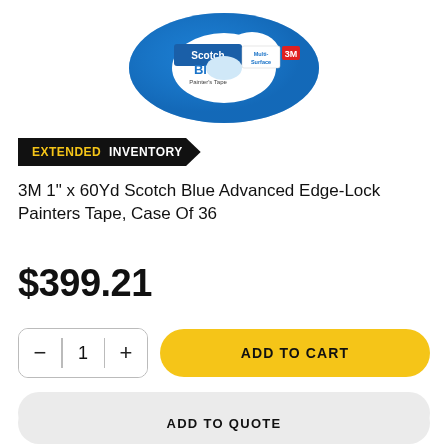[Figure (photo): Scotch Blue Advanced Multi-Surface Painter's Tape roll product photo on white background]
EXTENDED INVENTORY
3M 1" x 60Yd Scotch Blue Advanced Edge-Lock Painters Tape, Case Of 36
$399.21
ADD TO CART
ADD TO LIST
ADD TO QUOTE